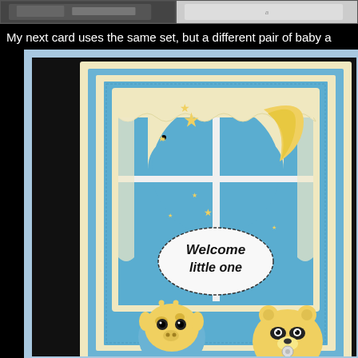[Figure (photo): Two partial thumbnail images at top: left shows a dark photo, right shows a light/white photo with script text]
My next card uses the same set, but a different pair of baby a
[Figure (photo): Baby card with blue and yellow color scheme featuring a window with moon and stars, curtains, and two cute cartoon baby animals (giraffe and bear/panda) with 'Welcome little one' text on an oval label]